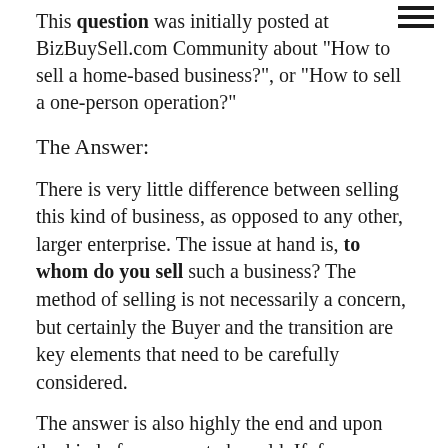This question was initially posted at BizBuySell.com Community about "How to sell a home-based business?", or "How to sell a one-person operation?"
The Answer:
There is very little difference between selling this kind of business, as opposed to any other, larger enterprise. The issue at hand is, to whom do you sell such a business? The method of selling is not necessarily a concern, but certainly the Buyer and the transition are key elements that need to be carefully considered.
The answer is also highly the end and upon the kind of company to be sold. If, for example the business is a consulting service, or any type of business where the Owner/operator is a highly visible individual,